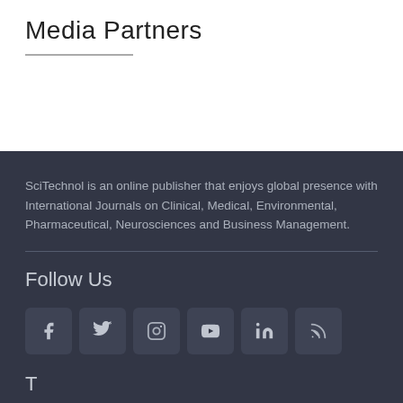Media Partners
SciTechnol is an online publisher that enjoys global presence with International Journals on Clinical, Medical, Environmental, Pharmaceutical, Neurosciences and Business Management.
Follow Us
[Figure (other): Social media icon buttons for Facebook, Twitter, Instagram, YouTube, LinkedIn, and RSS feed]
T